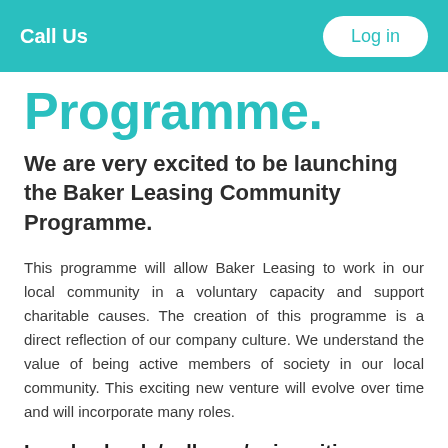Call Us   Log in
Programme.
We are very excited to be launching the Baker Leasing Community Programme.
This programme will allow Baker Leasing to work in our local community in a voluntary capacity and support charitable causes. The creation of this programme is a direct reflection of our company culture. We understand the value of being active members of society in our local community. This exciting new venture will evolve over time and will incorporate many roles.
Local schools/colleges/universities